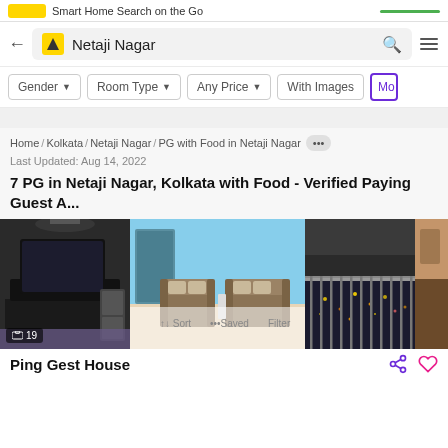Smart Home Search on the Go
Netaji Nagar
Gender ▾   Room Type ▾   Any Price ▾   With Images   Mo
Home / Kolkata / Netaji Nagar / PG with Food in Netaji Nagar ···
Last Updated: Aug 14, 2022
7 PG in Netaji Nagar, Kolkata with Food - Verified Paying Guest A...
[Figure (photo): Strip of 4 property images: (1) Room with TV and furniture in dark tones, showing badge '19'; (2) Blue-walled room with sofa chairs; (3) Night balcony view of city; (4) Partial room image]
Ping Gest House